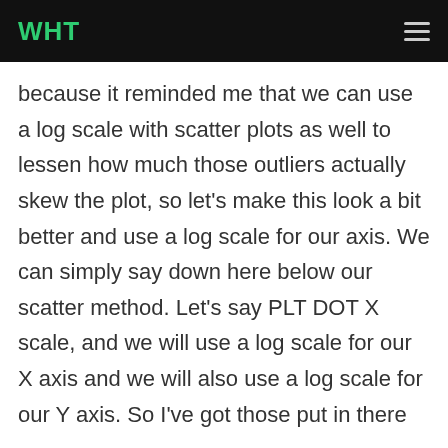WHT
because it reminded me that we can use a log scale with scatter plots as well to lessen how much those outliers actually skew the plot, so let's make this look a bit better and use a log scale for our axis. We can simply say down here below our scatter method. Let's say PLT DOT X scale, and we will use a log scale for our X axis and we will also use a log scale for our Y axis. So I've got those put in there